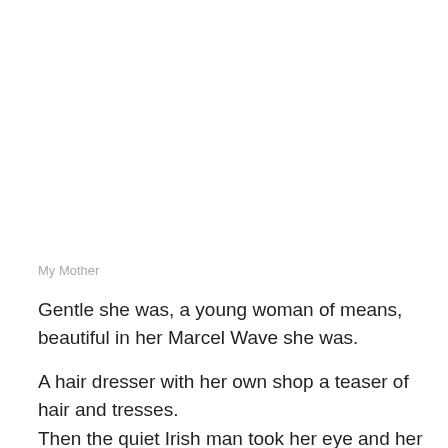My Mother
Gentle she was, a young woman of means, beautiful in her Marcel Wave she was.
A hair dresser with her own shop a teaser of hair and tresses.
Then the quiet Irish man took her eye and her heart